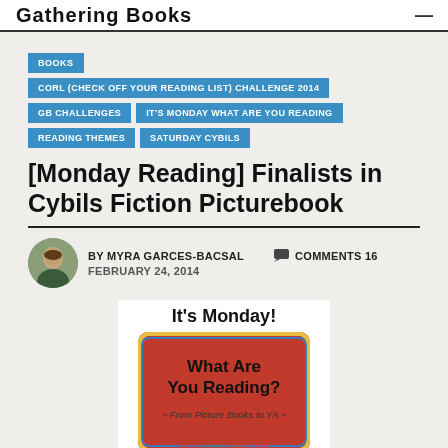Gathering Books
BOOKS
CORL (CHECK OFF YOUR READING LIST) CHALLENGE 2014
GB CHALLENGES
IT'S MONDAY WHAT ARE YOU READING
READING THEMES
SATURDAY CYBILS
[Monday Reading] Finalists in Cybils Fiction Picturebook
BY MYRA GARCES-BACSAL   COMMENTS 16
FEBRUARY 24, 2014
[Figure (illustration): It's Monday! What Are You Reading? From Picture Books to YA - promotional blog image with red chalkboard sign]